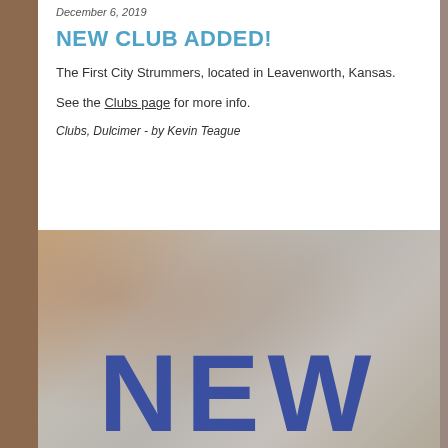December 6, 2019
NEW CLUB ADDED!
The First City Strummers, located in Leavenworth, Kansas.
See the Clubs page for more info.
Clubs, Dulcimer  -  by Kevin Teague
[Figure (photo): Photo showing the word NEW in large blue bold letters on a grey/beige textured background with brown edges visible on the sides.]